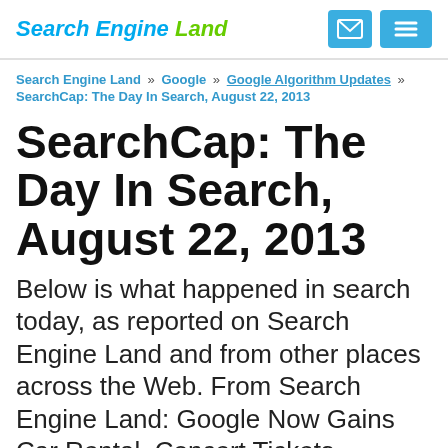Search Engine Land
Search Engine Land » Google » Google Algorithm Updates » SearchCap: The Day In Search, August 22, 2013
SearchCap: The Day In Search, August 22, 2013
Below is what happened in search today, as reported on Search Engine Land and from other places across the Web. From Search Engine Land: Google Now Gains Car Rental, Concert Tickets, Reminders